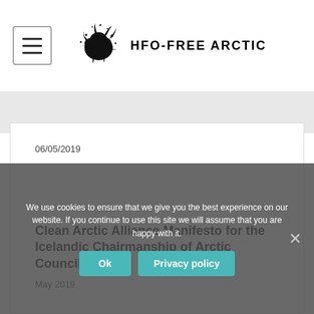HFO-FREE ARCTIC
06/05/2019
Clean Arctic Alliance Manifesto for the Icelandic Chairmanship of Arctic Council
May 2019
We use cookies to ensure that we give you the best experience on our website. If you continue to use this site we will assume that you are happy with it.
Ok  Privacy policy